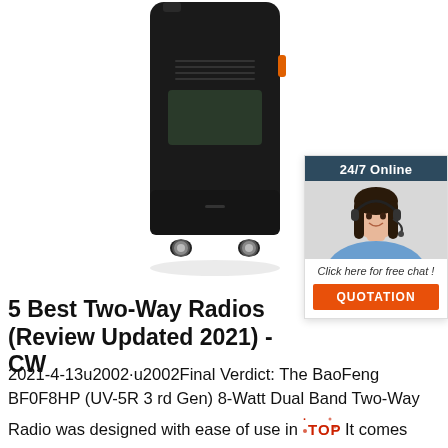[Figure (photo): Bottom/back view of a black Baofeng handheld two-way radio against a white background]
[Figure (illustration): 24/7 Online chat widget with a female customer service agent wearing a headset, a 'Click here for free chat!' message, and an orange QUOTATION button]
5 Best Two-Way Radios (Review Updated 2021) - CW
2021-4-13u2002·u2002Final Verdict: The BaoFeng BF0F8HP (UV-5R 3 rd Gen) 8-Watt Dual Band Two-Way Radio was designed with ease of use in mind. It comes with 1 year of concierge support and a detailed owner's manual; plus, it offers great power